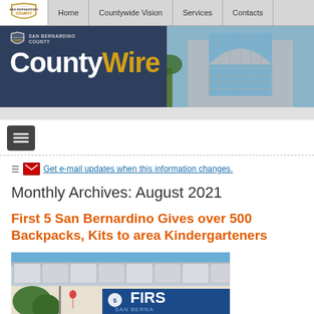Home | Countywide Vision | Services | Contacts
[Figure (screenshot): San Bernardino County CountyWire website banner with logo and building background]
Get e-mail updates when this information changes.
Monthly Archives: August 2021
First 5 San Bernardino Gives over 500 Backpacks, Kits to area Kindergarteners
[Figure (photo): Photo of First 5 San Bernardino event venue with canopy and signage reading first5sanbernardino.org]